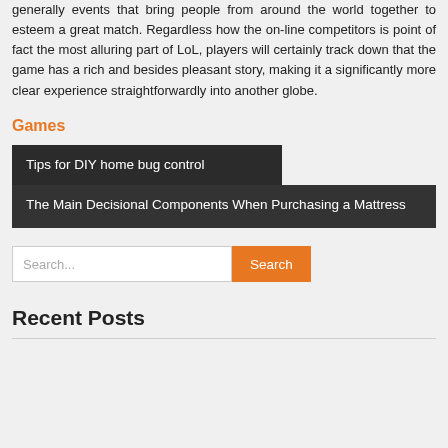generally events that bring people from around the world together to esteem a great match. Regardless how the on-line competitors is point of fact the most alluring part of LoL, players will certainly track down that the game has a rich and besides pleasant story, making it a significantly more clear experience straightforwardly into another globe.
Games
Tips for DIY home bug control
The Main Decisional Components When Purchasing a Mattress
Search...
Recent Posts